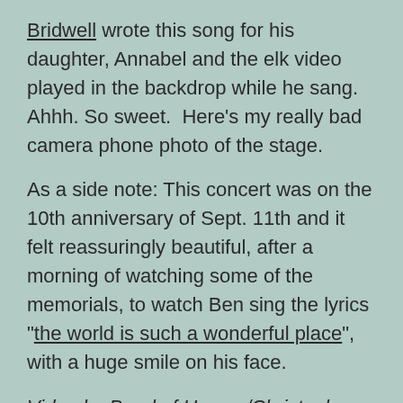Bridwell wrote this song for his daughter, Annabel and the elk video played in the backdrop while he sang. Ahhh. So sweet.  Here's my really bad camera phone photo of the stage.
As a side note: This concert was on the 10th anniversary of Sept. 11th and it felt reassuringly beautiful, after a morning of watching some of the memorials, to watch Ben sing the lyrics "the world is such a wonderful place", with a huge smile on his face.
Video by Band of Horses/Christopher Wilson